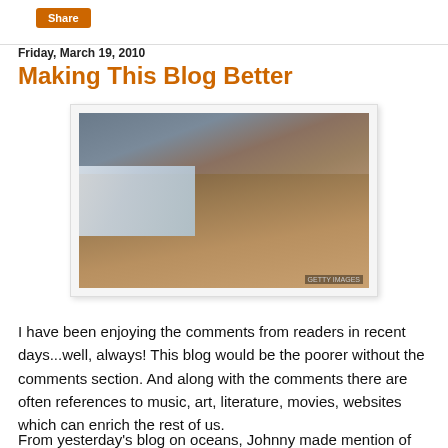Share
Friday, March 19, 2010
Making This Blog Better
[Figure (photo): A rocky beach covered with numerous starfish (sea stars), with ocean waves in the background on a cloudy day.]
I have been enjoying the comments from readers in recent days...well, always! This blog would be the poorer without the comments section. And along with the comments there are often references to music, art, literature, movies, websites which can enrich the rest of us.
From yesterday's blog on oceans, Johnny made mention of